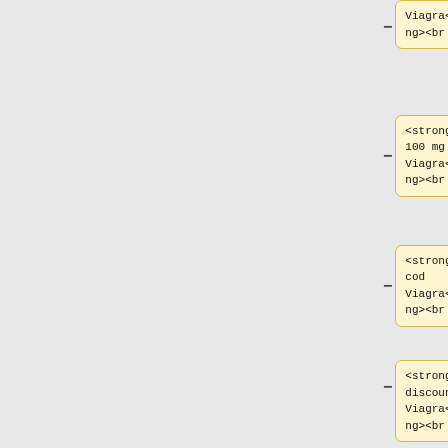[Figure (screenshot): Screenshot of a UI showing pairs of code boxes (yellow background, monospace HTML code like <strong>buy 100 mg Viagra</strong><br />) on the left side and response boxes (blue background) on the right side, separated by minus and plus buttons. Multiple rows are shown: row 1 partially visible with 'Viagra</strong><br />', row 2 with '<strong>buy 100 mg Viagra</strong><br />', row 3 with '<strong>buy cod Viagra</strong><br />' paired with 'Hi,', row 4 with '<strong>buy discount Viagra</strong><br />', row 5 partially visible with '<strong>buy generic Viagra online</strong><br />' paired with 'I would really strongly suggest adding this']